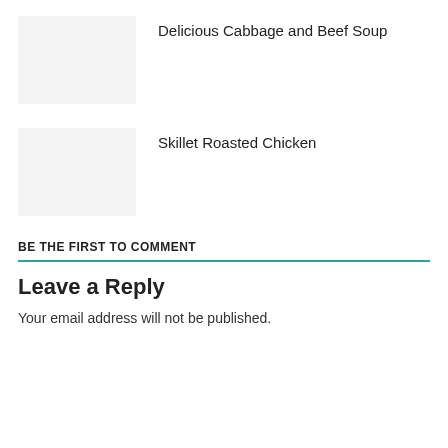[Figure (photo): Thumbnail placeholder image for Delicious Cabbage and Beef Soup]
Delicious Cabbage and Beef Soup
[Figure (photo): Thumbnail placeholder image for Skillet Roasted Chicken]
Skillet Roasted Chicken
BE THE FIRST TO COMMENT
Leave a Reply
Your email address will not be published.